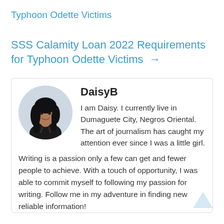Typhoon Odette Victims
SSS Calamity Loan 2022 Requirements for Typhoon Odette Victims →
[Figure (photo): Circular profile photo of DaisyB, a woman with long dark hair wearing a black top, against a light grey/blue circular background.]
DaisyB
I am Daisy. I currently live in Dumaguete City, Negros Oriental. The art of journalism has caught my attention ever since I was a little girl. Writing is a passion only a few can get and fewer people to achieve. With a touch of opportunity, I was able to commit myself to following my passion for writing. Follow me in my adventure in finding new reliable information!